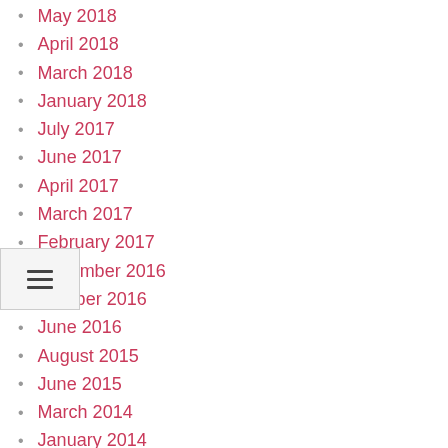May 2018
April 2018
March 2018
January 2018
July 2017
June 2017
April 2017
March 2017
February 2017
December 2016
October 2016
June 2016
August 2015
June 2015
March 2014
January 2014
September 2013
December 2012